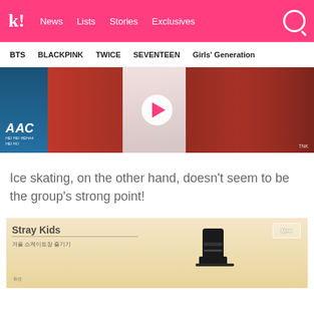k! News Lists Stories Exclusives
BTS BLACKPINK TWICE SEVENTEEN Girls' Generation
[Figure (screenshot): Video thumbnail showing K-pop group members in red sports jerseys with a play button overlay. Korean text overlay visible on left side reading ААС with subtitle text below.]
Ice skating, on the other hand, doesn't seem to be the group's strong point!
[Figure (screenshot): Video thumbnail showing ice skating equipment (skate blade/boot) on a light background with Korean text overlay and Mnet logo watermark.]